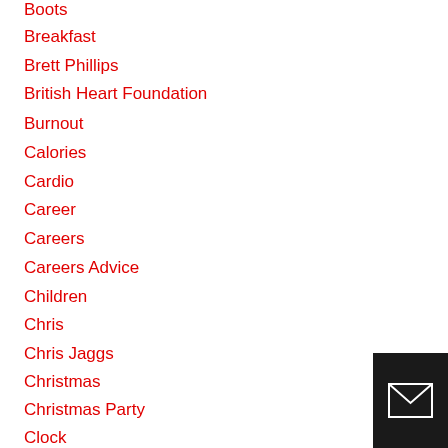Boots
Breakfast
Brett Phillips
British Heart Foundation
Burnout
Calories
Cardio
Career
Careers
Careers Advice
Children
Chris
Chris Jaggs
Christmas
Christmas Party
Clock
Coach
Coaching